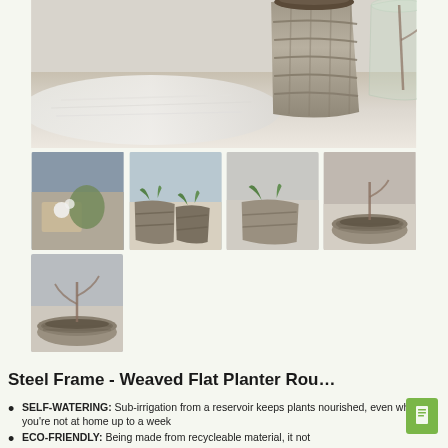[Figure (photo): Main product photo showing a woven/rattan basket planter on a wooden surface with a white rug and glass vase in the background]
[Figure (photo): Thumbnail 1: interior scene with woven planter and white orchid]
[Figure (photo): Thumbnail 2: two woven round planters with plants]
[Figure (photo): Thumbnail 3: close-up of woven planter with plant]
[Figure (photo): Thumbnail 4: flat oval/rectangular woven planter]
[Figure (photo): Thumbnail 5: another view of the flat oval woven planter]
Steel Frame - Weaved Flat Planter Rou...
SELF-WATERING: Sub-irrigation from a reservoir keeps plants nourished, even when you're not at home up to a week
ECO-FRIENDLY: Being made from recycleable material, it not